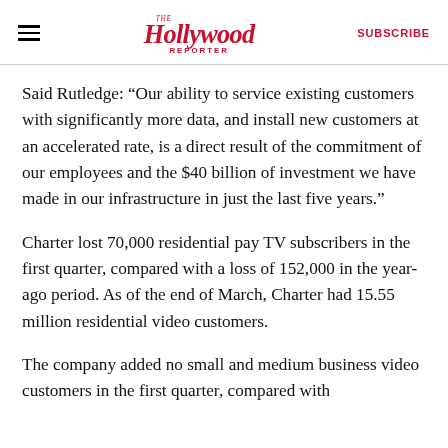The Hollywood Reporter | SUBSCRIBE
Said Rutledge: “Our ability to service existing customers with significantly more data, and install new customers at an accelerated rate, is a direct result of the commitment of our employees and the $40 billion of investment we have made in our infrastructure in just the last five years.”
Charter lost 70,000 residential pay TV subscribers in the first quarter, compared with a loss of 152,000 in the year-ago period. As of the end of March, Charter had 15.55 million residential video customers.
The company added no small and medium business video customers in the first quarter, compared with